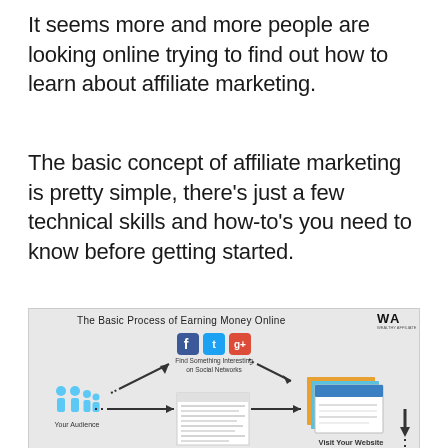It seems more and more people are looking online trying to find out how to learn about affiliate marketing.
The basic concept of affiliate marketing is pretty simple, there's just a few technical skills and how-to's you need to know before getting started.
[Figure (infographic): Infographic titled 'The Basic Process of Earning Money Online' with Wealthy Affiliate logo. Shows a flow diagram: Your Audience (people icons) → Search for Something in Google (browser screenshot) → Find Something Interesting on Social Networks (Facebook, Twitter, Google+ icons) → Visit Your Website (website screenshot) with downward arrows continuing off page.]